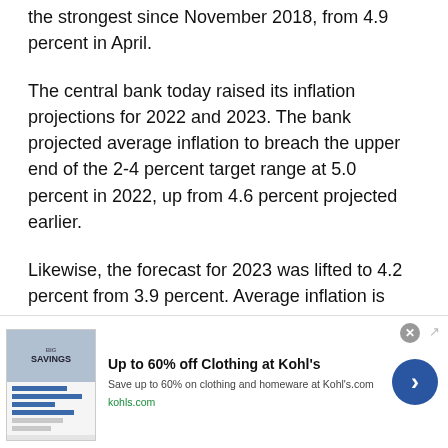the strongest since November 2018, from 4.9 percent in April.
The central bank today raised its inflation projections for 2022 and 2023. The bank projected average inflation to breach the upper end of the 2-4 percent target range at 5.0 percent in 2022, up from 4.6 percent projected earlier.
Likewise, the forecast for 2023 was lifted to 4.2 percent from 3.9 percent. Average inflation is seen to ease somewhat below at 3.3 percent in 2024.
[Figure (other): Advertisement banner for Kohl's clothing sale: 'Up to 60% off Clothing at Kohl's'. Save up to 60% on clothing and homeware at Kohls.com. URL: kohls.com. Features a thumbnail image with clothing/savings visuals and a blue navigation arrow button.]